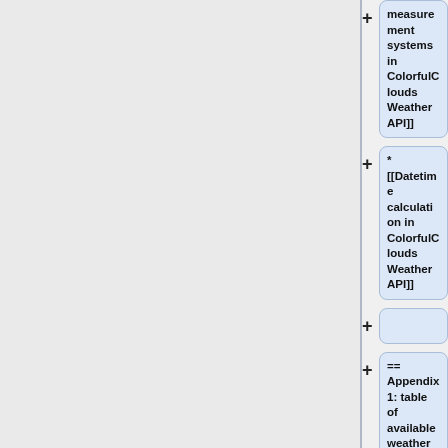measurement systems in ColorfulClouds Weather API]]
* [[Datetime calculation in ColorfulClouds Weather API]]
== Appendix 1: table of available weather variables ==
{{:Table of available weather variables}}